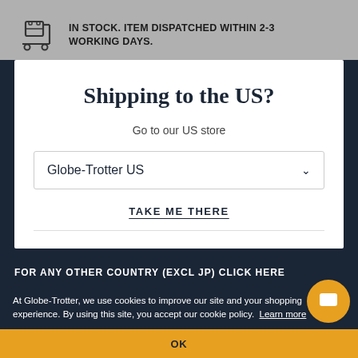IN STOCK. ITEM DISPATCHED WITHIN 2-3 WORKING DAYS.
Shipping to the US?
Go to our US store
Globe-Trotter US
TAKE ME THERE
FOR ANY OTHER COUNTRY (EXCL JP) CLICK HERE
At Globe-Trotter, we use cookies to improve our site and your shopping experience. By using this site, you accept our cookie policy. Learn more
OK